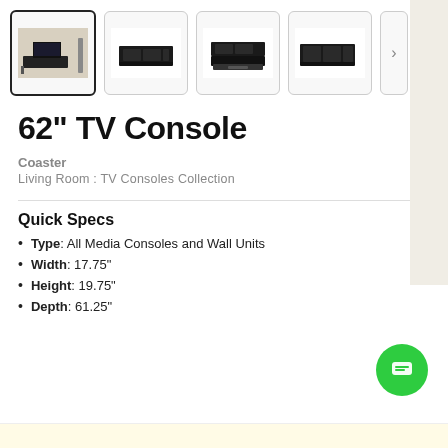[Figure (photo): Four product thumbnail images of a 62-inch TV Console in black, showing front view in room, front view of console alone, console with drawer open, and side/back view. A right-arrow navigation button is shown at the end.]
62" TV Console
Coaster
Living Room : TV Consoles Collection
Quick Specs
Type: All Media Consoles and Wall Units
Width: 17.75"
Height: 19.75"
Depth: 61.25"